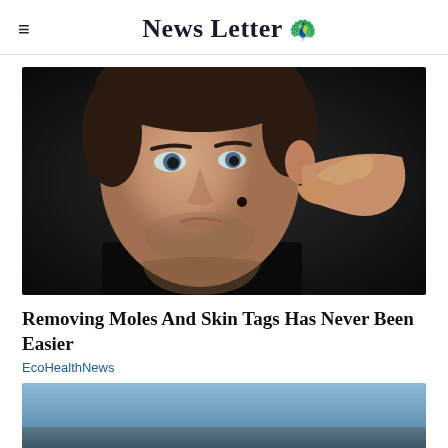News Letter 🦚
[Figure (photo): Close-up of a young man with short dark hair pointing at a mole on his cheek against a dark background]
Removing Moles And Skin Tags Has Never Been Easier
EcoHealthNews
[Figure (photo): Partially visible advertisement or image with blue and gray gradient tones]